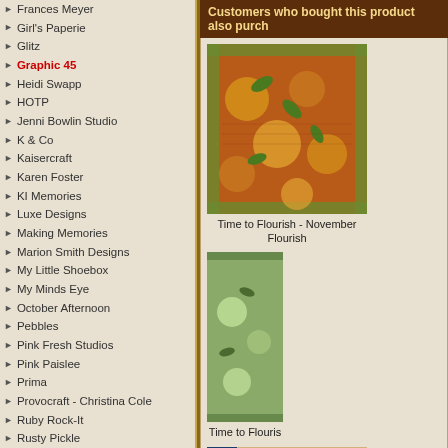Frances Meyer
Girl's Paperie
Glitz
Graphic 45
Heidi Swapp
HOTP
Jenni Bowlin Studio
K & Co
Kaisercraft
Karen Foster
KI Memories
Luxe Designs
Making Memories
Marion Smith Designs
My Little Shoebox
My Minds Eye
October Afternoon
Pebbles
Pink Fresh Studios
Pink Paislee
Prima
Provocraft - Christina Cole
Ruby Rock-It
Rusty Pickle
Sassafras Lass
Scenic Route
Scrapperdashery
SEI
Simple Stories Autumn
Simple Stories Baby\Childhood
Simple Stories Christmas\Winter
Simple Stories General
Simple Stories Say Cheese
Simple Stories Summer
Simple Stories Travel
Simple Stories Wedding
Studio Calico
Teresa Collins
Websters Pages
Wubie
Kits Multipacks & Pads
Customers who bought this product also purch...
[Figure (photo): Product image: Time to Flourish - November Flourish patterned paper with orange/brown floral design]
Time to Flourish - November Flourish
[Figure (photo): Product image: Time to Flourish - partial view with green floral design]
Time to Flouris...
[Figure (photo): Product image: World's Fair - Inspiration Station small thumbnail]
World's Fair - Inspiration Station
Time to Flouri...